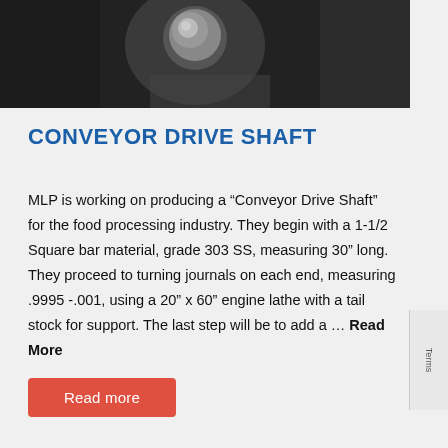[Figure (photo): Close-up photo of a metal shaft or bolt component, dark industrial background]
CONVEYOR DRIVE SHAFT
MLP is working on producing a “Conveyor Drive Shaft” for the food processing industry. They begin with a 1-1/2 Square bar material, grade 303 SS, measuring 30” long. They proceed to turning journals on each end, measuring .9995 -.001, using a 20” x 60” engine lathe with a tail stock for support. The last step will be to add a … Read More
Read more